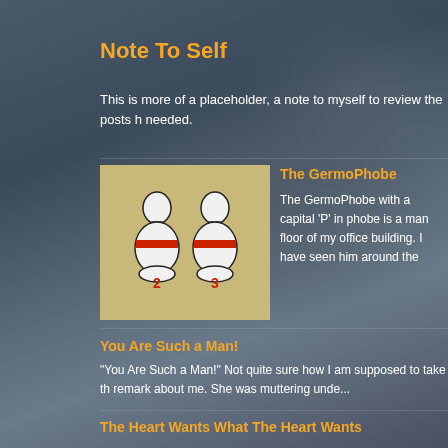Note To Self
This is more of a placeholder, a note to myself to review the posts h needed.
The GermoPhobe
[Figure (illustration): Two bowling pins numbered 2 and 3 on a tan/khaki background]
The GermoPhobe with a capital 'P' in phobe is a man floor of my office building. I have seen him around the
You Are Such a Man!
"You Are Such a Man!" Not quite sure how I am supposed to take th remark about me. She was muttering unde...
The Heart Wants What The Heart Wants
Someone once told me that the heart wants what the heart wants. I from a book or a movie, it could be. Then aga...